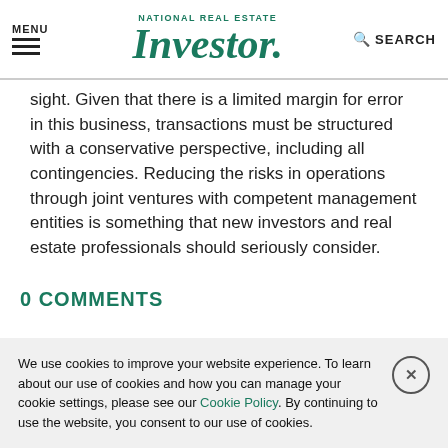MENU | NATIONAL REAL ESTATE Investor. | SEARCH
sight. Given that there is a limited margin for error in this business, transactions must be structured with a conservative perspective, including all contingencies. Reducing the risks in operations through joint ventures with competent management entities is something that new investors and real estate professionals should seriously consider.
0 COMMENTS
We use cookies to improve your website experience. To learn about our use of cookies and how you can manage your cookie settings, please see our Cookie Policy. By continuing to use the website, you consent to our use of cookies.